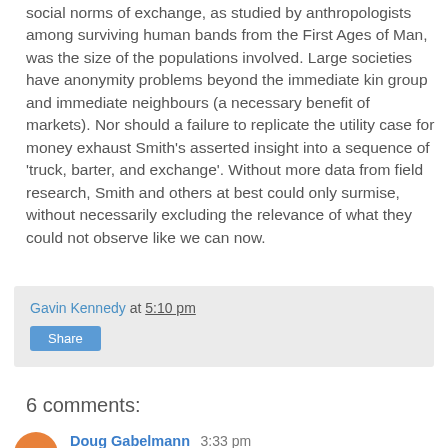social norms of exchange, as studied by anthropologists among surviving human bands from the First Ages of Man, was the size of the populations involved. Large societies have anonymity problems beyond the immediate kin group and immediate neighbours (a necessary benefit of markets). Nor should a failure to replicate the utility case for money exhaust Smith's asserted insight into a sequence of 'truck, barter, and exchange'. Without more data from field research, Smith and others at best could only surmise, without necessarily excluding the relevance of what they could not observe like we can now.
Gavin Kennedy at 5:10 pm
Share
6 comments:
Doug Gabelmann 3:33 pm
I found your blog via Mark Thoma. Interesting comments.